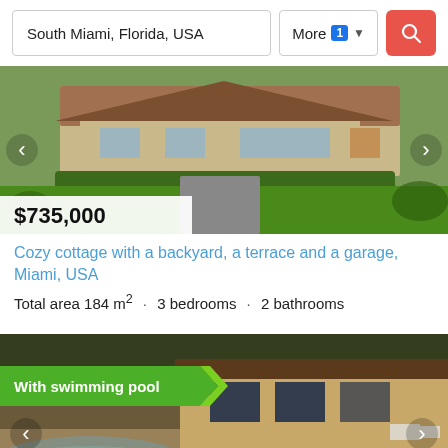South Miami, Florida, USA
More 1 ▾
[Figure (photo): Exterior photo of a house with a green lawn, hedges, and a driveway. Navigation arrows on left and right. Price badge showing $735,000.]
Cozy cottage with a backyard, a terrace and a garage, Miami, USA
Total area 184 m² · 3 bedrooms · 2 bathrooms
[Figure (photo): Exterior photo of a house with a swimming pool in the foreground and a covered patio. Green badge reading 'With swimming pool'. Price badge showing $888,000.]